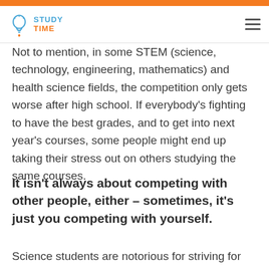STUDY TIME
Not to mention, in some STEM (science, technology, engineering, mathematics) and health science fields, the competition only gets worse after high school. If everybody’s fighting to have the best grades, and to get into next year’s courses, some people might end up taking their stress out on others studying the same courses.
It isn’t always about competing with other people, either – sometimes, it’s just you competing with yourself.
Science students are notorious for striving for those